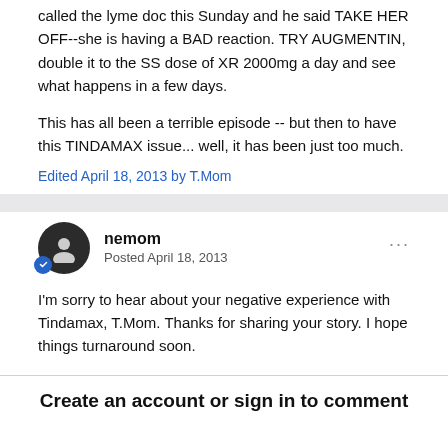called the lyme doc this Sunday and he said TAKE HER OFF--she is having a BAD reaction. TRY AUGMENTIN, double it to the SS dose of XR 2000mg a day and see what happens in a few days.
This has all been a terrible episode -- but then to have this TINDAMAX issue... well, it has been just too much.
Edited April 18, 2013 by T.Mom
nemom
Posted April 18, 2013
I'm sorry to hear about your negative experience with Tindamax, T.Mom. Thanks for sharing your story. I hope things turnaround soon.
Create an account or sign in to comment